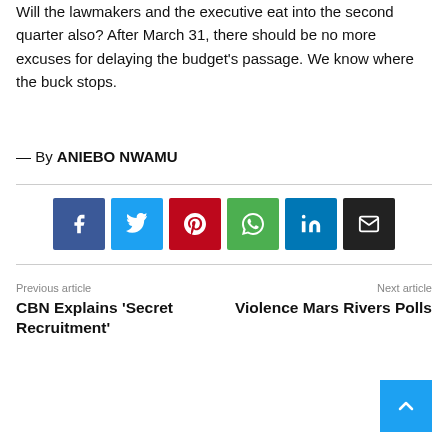Will the lawmakers and the executive eat into the second quarter also? After March 31, there should be no more excuses for delaying the budget's passage. We know where the buck stops.
— By ANIEBO NWAMU
[Figure (other): Social sharing buttons: Facebook, Twitter, Pinterest, WhatsApp, LinkedIn, Email]
Previous article
CBN Explains 'Secret Recruitment'
Next article
Violence Mars Rivers Polls